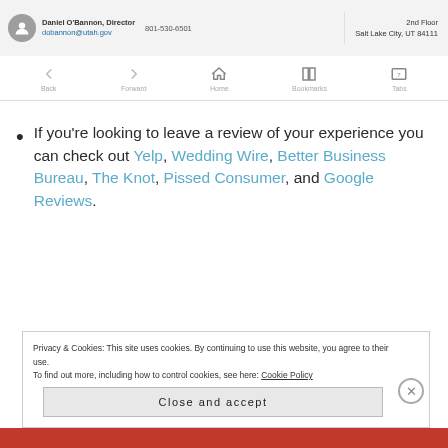Daniel O'Bannon, Director dobannon@utah.gov 801-530-6501 | 2nd Floor Salt Lake City, UT 84111
[Figure (screenshot): Browser navigation bar with Back, Forward, Home, Bookmarks, Tabs icons]
If you’re looking to leave a review of your experience you can check out Yelp, Wedding Wire, Better Business Bureau, The Knot, Pissed Consumer, and Google Reviews.
Privacy & Cookies: This site uses cookies. By continuing to use this website, you agree to their use. To find out more, including how to control cookies, see here: Cookie Policy
Close and accept